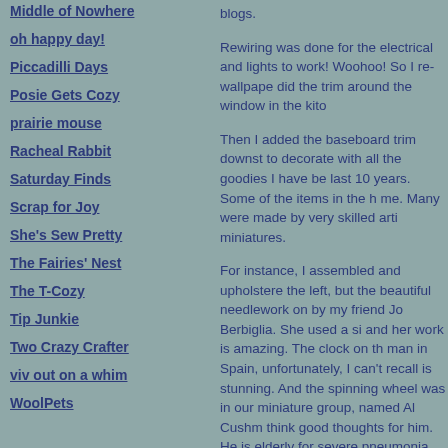Middle of Nowhere
oh happy day!
Piccadilli Days
Posie Gets Cozy
prairie mouse
Racheal Rabbit
Saturday Finds
Scrap for Joy
She's Sew Pretty
The Fairies' Nest
The T-Cozy
Tip Junkie
Two Crazy Crafter
viv out on a whim
WoolPets
blogs.
Rewiring was done for the electrical and lights to work! Woohoo! So I re-wallpape did the trim around the window in the kito
Then I added the baseboard trim downst to decorate with all the goodies I have be last 10 years. Some of the items in the h me. Many were made by very skilled arti miniatures.
For instance, I assembled and upholstere the left, but the beautiful needlework on by my friend Jo Berbiglia. She used a si and her work is amazing. The clock on th man in Spain, unfortunately, I can't recall is stunning. And the spinning wheel was in our miniature group, named Al Cushm think good thoughts for him. He is elderly for severe pneumonia.
In the kitchen, the sink was made by a